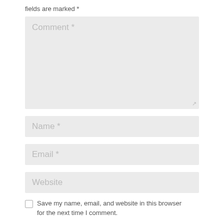fields are marked *
Comment *
Name *
Email *
Website
Save my name, email, and website in this browser for the next time I comment.